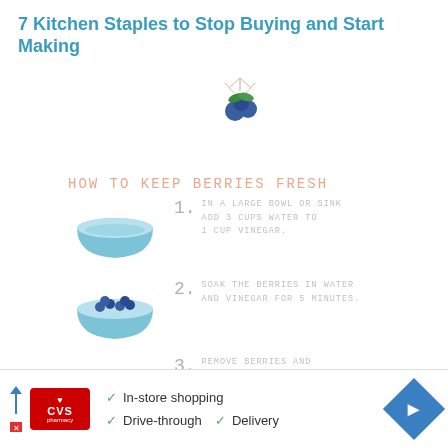7 Kitchen Staples to Stop Buying and Start Making
[Figure (infographic): Infographic titled 'HOW TO KEEP BERRIES FRESH' showing 4 steps: 1) Bowl icon - In a large bowl or sink add 3 cups water to 1 cup vinegar. 2) Bowl with berries icon - Soak the berries in water and vinegar for 5 minutes. 3) Berries on towel icon - Remove berries and gently pat dry. 4) Container icon - Store berries in a container lined with paper towels. Keep the top cracked so moisture can escape. With LiveSimply.me logo.]
[Figure (infographic): CVS Pharmacy advertisement banner with checkmarks listing: In-store shopping, Drive-through, Delivery, with navigation arrow icon.]